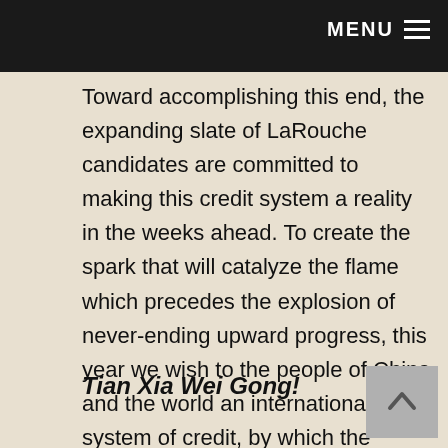MENU
Toward accomplishing this end, the expanding slate of LaRouche candidates are committed to making this credit system a reality in the weeks ahead. To create the spark that will catalyze the flame which precedes the explosion of never-ending upward progress, this year we wish to the people of China and the world an international system of credit, by which the potential immortal mission of all mankind can proceed.
Tian Xia Wei Gong!